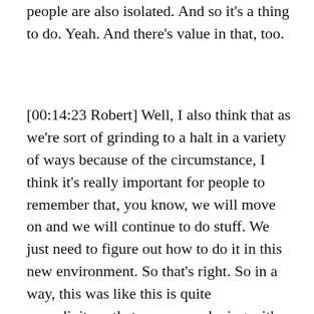people are also isolated. And so it's a thing to do. Yeah. And there's value in that, too.
[00:14:23 Robert] Well, I also think that as we're sort of grinding to a halt in a variety of ways because of the circumstance, I think it's really important for people to remember that, you know, we will move on and we will continue to do stuff. We just need to figure out how to do it in this new environment. So that's right. So in a way, this was like this is quite serendipitous that you were playing with this technology before